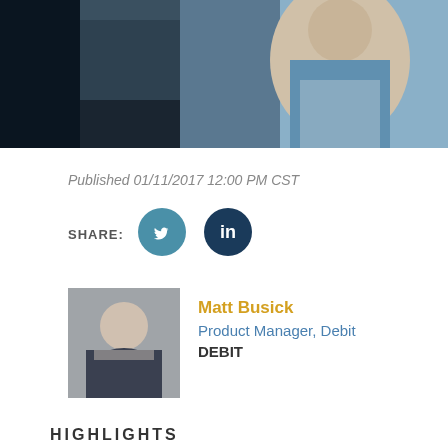[Figure (photo): Cropped photo of a person in a light blue shirt with arms crossed, dark background]
Published 01/11/2017 12:00 PM CST
SHARE:
[Figure (illustration): Twitter and LinkedIn social share buttons]
[Figure (photo): Headshot of Matt Busick]
Matt Busick
Product Manager, Debit
DEBIT
HIGHLIGHTS
As the call for less cash, more plastic gets